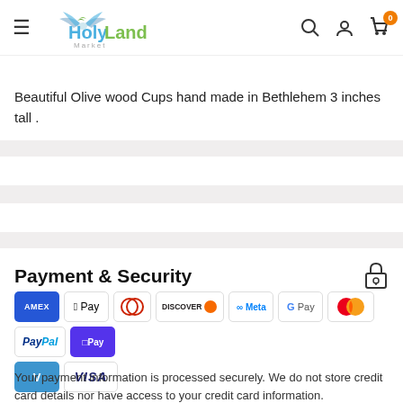HolyLand Market — navigation header with search, user, and cart icons
Beautiful Olive wood Cups hand made in Bethlehem 3 inches tall .
Payment & Security
[Figure (other): Payment method logos: Amex, Apple Pay, Diners Club, Discover, Meta Pay, Google Pay, Mastercard, PayPal, Shop Pay, Venmo, Visa]
Your payment information is processed securely. We do not store credit card details nor have access to your credit card information.